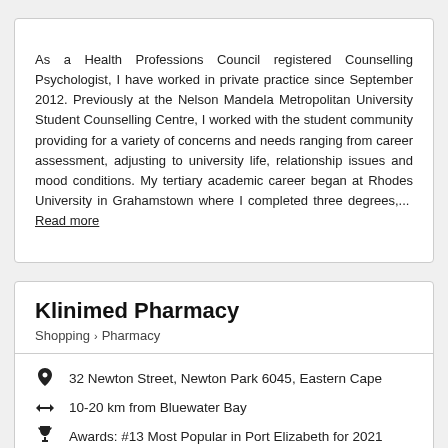As a Health Professions Council registered Counselling Psychologist, I have worked in private practice since September 2012. Previously at the Nelson Mandela Metropolitan University Student Counselling Centre, I worked with the student community providing for a variety of concerns and needs ranging from career assessment, adjusting to university life, relationship issues and mood conditions. My tertiary academic career began at Rhodes University in Grahamstown where I completed three degrees,... Read more
Klinimed Pharmacy
Shopping > Pharmacy
32 Newton Street, Newton Park 6045, Eastern Cape
10-20 km from Bluewater Bay
Awards: #13 Most Popular in Port Elizabeth for 2021
Contact me | Email | www